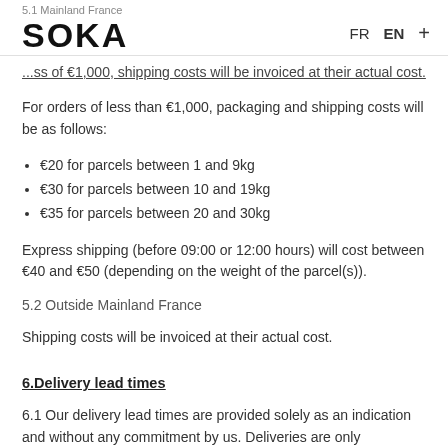5.1 Mainland France | SOKA | FR EN +
...orders of less than €1,000, shipping costs will be invoiced at their actual cost.
For orders of less than €1,000, packaging and shipping costs will be as follows:
€20 for parcels between 1 and 9kg
€30 for parcels between 10 and 19kg
€35 for parcels between 20 and 30kg
Express shipping (before 09:00 or 12:00 hours) will cost between €40 and €50 (depending on the weight of the parcel(s)).
5.2 Outside Mainland France
Shipping costs will be invoiced at their actual cost.
6.Delivery lead times
6.1 Our delivery lead times are provided solely as an indication and without any commitment by us. Deliveries are only undertaken subject to availability and in line with the chronological order in